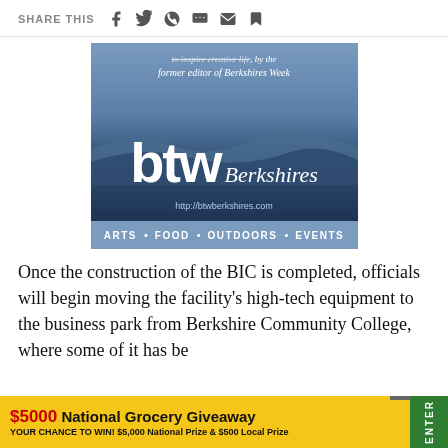SHARE THIS
[Figure (logo): BTW Berkshires advertisement banner showing 'btw Berkshires' logo with tagline 'to inspire creative life, by the former editor of Berkshires Week' and URL http://btwberkshires.com, with navigation bar showing ARTS • FOOD • OUTDOORS • EVENTS]
Once the construction of the BIC is completed, officials will begin moving the facility's high-tech equipment to the business park from Berkshire Community College, where some of it has be...
[Figure (infographic): $5000 National Grocery Giveaway advertisement banner. Text: '$5000 National Grocery Giveaway YOUR CHANCE TO WIN! $5,000 National Prize & $500 Local Prize' with green ENTER button on right side.]